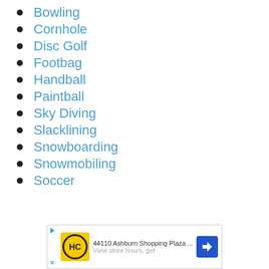Bowling
Cornhole
Disc Golf
Footbag
Handball
Paintball
Sky Diving
Slacklining
Snowboarding
Snowmobiling
Soccer
[Figure (other): Advertisement banner: HC logo, '44110 Ashburn Shopping Plaza ...' text, 'View store hours, get' subtext, navigation arrow icon]